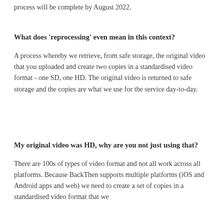at a time, swapping in the improved copy automatically. The whole process will be complete by August 2022.
What does ‘reprocessing’ even mean in this context?
A process whereby we retrieve, from safe storage, the original video that you uploaded and create two copies in a standardised video format - one SD, one HD. The original video is returned to safe storage and the copies are what we use for the service day-to-day.
My original video was HD, why are you not just using that?
There are 100s of types of video format and not all work across all platforms. Because BackThen supports multiple platforms (iOS and Android apps and web) we need to create a set of copies in a standardised video format that we